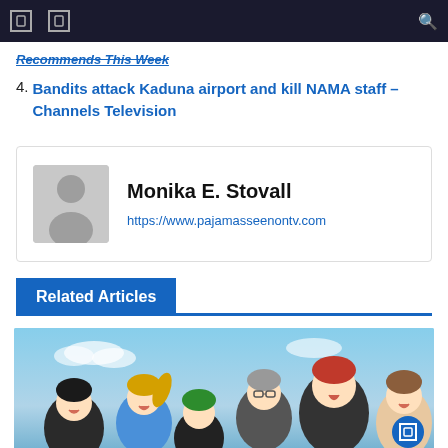Navigation bar with menu icons and search
Recommends This Week
4. Bandits attack Kaduna airport and kill NAMA staff – Channels Television
Monika E. Stovall
https://www.pajamasseenontv.com
Related Articles
[Figure (illustration): Anime illustration showing a group of animated male characters with various hair colors (black, blonde, green, gray, red, brown) appearing excited or cheering, set against a blue sky background.]